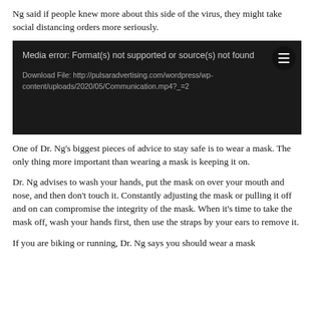Ng said if people knew more about this side of the virus, they might take social distancing orders more seriously.
[Figure (screenshot): Media player error screen with dark background showing 'Media error: Format(s) not supported or source(s) not found' and a download file link: http://pulsaradvertising.com/wordpress/wp-content/uploads/2020/05/Communication.mp4?_=2]
One of Dr. Ng's biggest pieces of advice to stay safe is to wear a mask. The only thing more important than wearing a mask is keeping it on.
Dr. Ng advises to wash your hands, put the mask on over your mouth and nose, and then don't touch it. Constantly adjusting the mask or pulling it off and on can compromise the integrity of the mask. When it's time to take the mask off, wash your hands first, then use the straps by your ears to remove it.
If you are biking or running, Dr. Ng says you should wear a mask even if you think you'll be in a relatively secluded area.